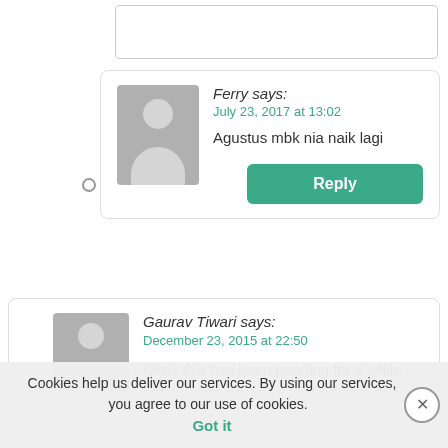[Figure (illustration): Gray placeholder avatar with head and body silhouette for user Ferry]
Ferry says:
July 23, 2017 at 13:02
Agustus mbk nia naik lagi
Reply
17.
[Figure (illustration): Gray placeholder avatar with head and body silhouette for user Gaurav Tiwari]
Gaurav Tiwari says:
December 23, 2015 at 22:50
Okay this has been pending for a while but I'm here now and shall pay my due diligence with a trip report.
Cookies help us deliver our services. By using our services, you agree to our use of cookies. Got it